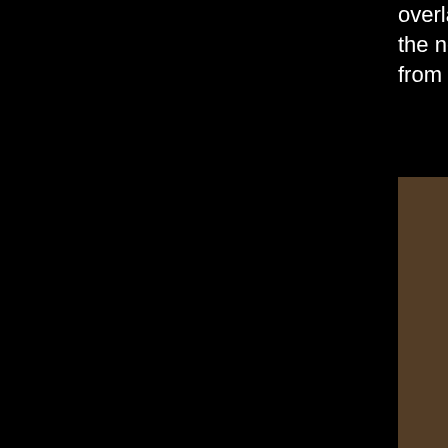overlap section at the top of the next part, two weeks from now.
[Figure (photo): Two people posing for a photo. Labels at the bottom read 'LL C' on the left and 'BARRY B-STRO' on the right.]
I had a ball listening to this gig, the show is so theatrical and elaborate; I think this document gives a nice idea of the flavor of a rap show in those earlier days. Not being an expert on Darryl C and Crash Crew I